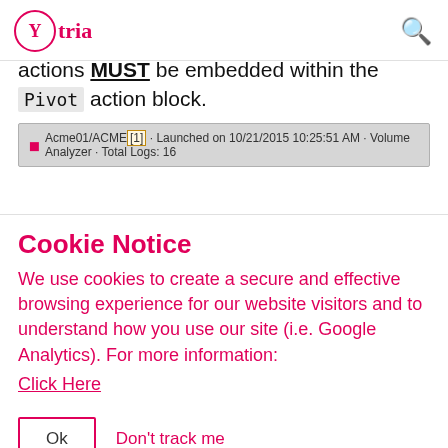Ytria [logo] [search icon]
actions MUST be embedded within the Pivot action block.
[Figure (screenshot): Status bar screenshot showing: Acme01/ACME [1] · Launched on 10/21/2015 10:25:51 AM · Volume Analyzer · Total Logs: 16]
Cookie Notice
We use cookies to create a secure and effective browsing experience for our website visitors and to understand how you use our site (i.e. Google Analytics). For more information:
Click Here
Ok   Don't track me